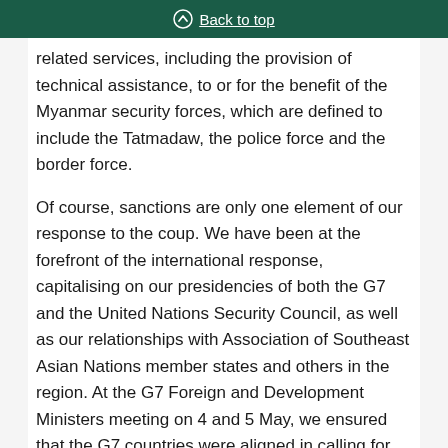Back to top
related services, including the provision of technical assistance, to or for the benefit of the Myanmar security forces, which are defined to include the Tatmadaw, the police force and the border force.
Of course, sanctions are only one element of our response to the coup. We have been at the forefront of the international response, capitalising on our presidencies of both the G7 and the United Nations Security Council, as well as our relationships with Association of Southeast Asian Nations member states and others in the region. At the G7 Foreign and Development Ministers meeting on 4 and 5 May, we ensured that the G7 countries were aligned in calling for the military to restore democracy to Myanmar. We also got all G7 countries to commit